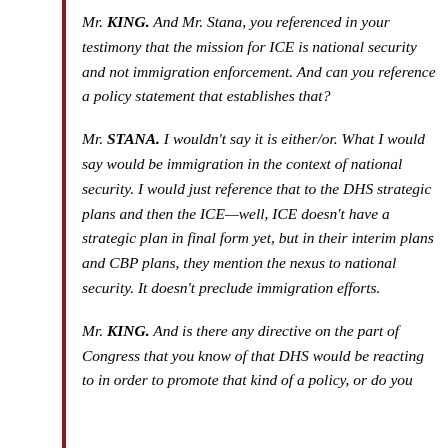Mr. KING. And Mr. Stana, you referenced in your testimony that the mission for ICE is national security and not immigration enforcement. And can you reference a policy statement that establishes that?
Mr. STANA. I wouldn't say it is either/or. What I would say would be immigration in the context of national security. I would just reference that to the DHS strategic plans and then the ICE—well, ICE doesn't have a strategic plan in final form yet, but in their interim plans and CBP plans, they mention the nexus to national security. It doesn't preclude immigration efforts.
Mr. KING. And is there any directive on the part of Congress that you know of that DHS would be reacting to in order to promote that kind of a policy, or do you